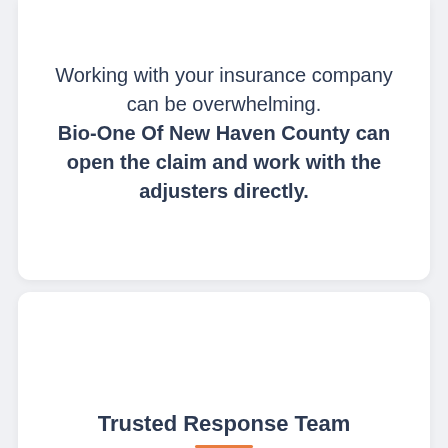Working with your insurance company can be overwhelming. Bio-One Of New Haven County can open the claim and work with the adjusters directly.
Trusted Response Team